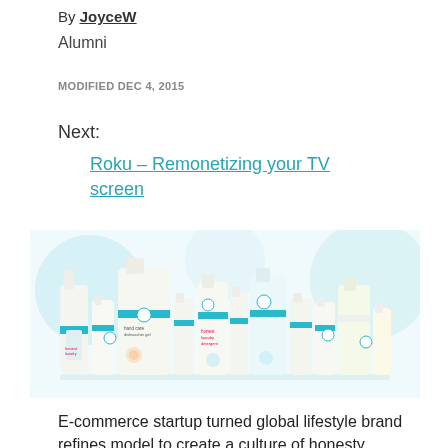By JoyceW
Alumni
MODIFIED DEC 4, 2015
Next:
Roku – Remonetizing your TV screen
[Figure (photo): Product lineup photo showing multiple Honest Company cleaning and personal care product bottles with teal caps and branded labels, arranged on a light background with decorative teal swirl graphics.]
E-commerce startup turned global lifestyle brand refines model to create a culture of honesty